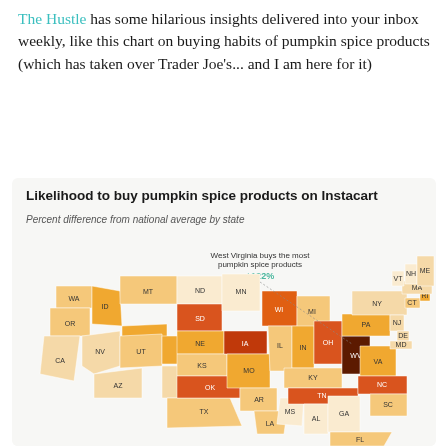The Hustle has some hilarious insights delivered into your inbox weekly, like this chart on buying habits of pumpkin spice products (which has taken over Trader Joe's... and I am here for it)
[Figure (map): Choropleth map of the US showing percent difference from national average by state for likelihood to buy pumpkin spice products on Instacart. West Virginia is highlighted as buying the most pumpkin spice products at +122%. States are shaded in shades of orange from light (below average) to dark red-brown (highest). States labeled include WA, OR, CA, NV, ID, MT, WY, UT, AZ, CO, NM, TX, ND, SD, NE, KS, OK, AR, LA, MS, MN, IA, MO, WI, IL, IN, MI, OH, KY, TN, AL, GA, FL, SC, NC, VA, WV, PA, NY, NJ, CT, RI, MA, NH, VT, ME, DE, MD.]